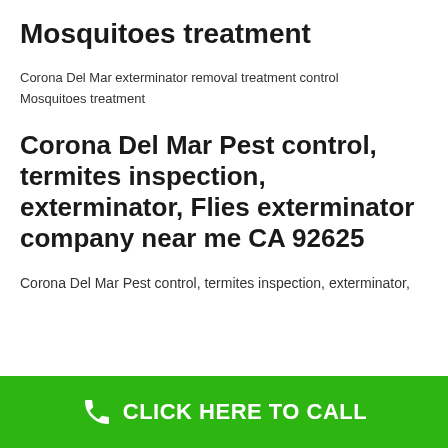Mosquitoes treatment
Corona Del Mar exterminator removal treatment control
Mosquitoes treatment
Corona Del Mar Pest control, termites inspection, exterminator, Flies exterminator company near me CA 92625
Corona Del Mar Pest control, termites inspection, exterminator,
CLICK HERE TO CALL